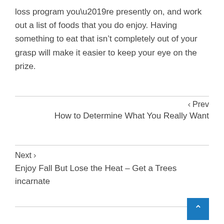loss program you’re presently on, and work out a list of foods that you do enjoy. Having something to eat that isn’t completely out of your grasp will make it easier to keep your eye on the prize.
‹ Prev
How to Determine What You Really Want
Next ›
Enjoy Fall But Lose the Heat – Get a Trees incarnate